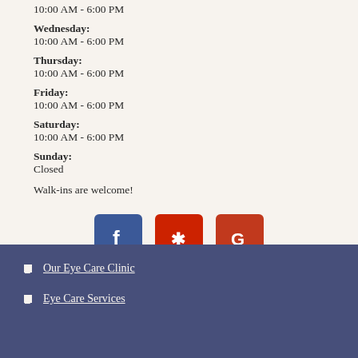10:00 AM - 6:00 PM
Wednesday:
10:00 AM - 6:00 PM
Thursday:
10:00 AM - 6:00 PM
Friday:
10:00 AM - 6:00 PM
Saturday:
10:00 AM - 6:00 PM
Sunday:
Closed
Walk-ins are welcome!
[Figure (logo): Social media icons: Facebook (blue), Yelp (red), Google (orange-red)]
Our Eye Care Clinic
Eye Care Services